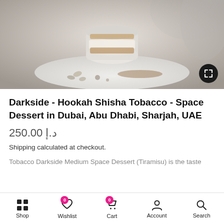[Figure (photo): A glass dessert cup containing a tiramisu-style layered dessert with coffee beans and powdered topping on a plate, with smoke/vapor in the background]
Darkside - Hookah Shisha Tobacco - Space Dessert in Dubai, Abu Dhabi, Sharjah, UAE
250.00 د.إ
Shipping calculated at checkout.
Tobacco Darkside Medium Space Dessert (Tiramisu) is the taste
Shop  Wishlist  Cart  Account  Search